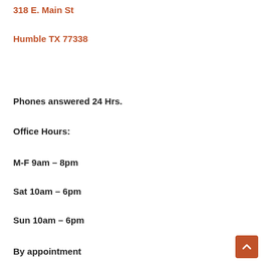318 E. Main St
Humble TX 77338
Phones answered 24 Hrs.
Office Hours:
M-F  9am – 8pm
Sat   10am – 6pm
Sun  10am – 6pm
By appointment